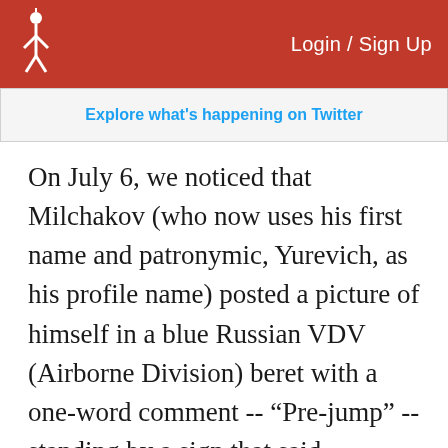Login / Sign Up
Explore what's happening on Twitter
On July 6, we noticed that Milchakov (who now uses his first name and patronymic, Yurevich, as his profile name) posted a picture of himself in a blue Russian VDV (Airborne Division) beret with a one-word comment -- “Pre-jump” -- standing by a sign that said Airborne Troops Complex. The sign had a mixture of both Soviet communist insignia on a Russian tri-color